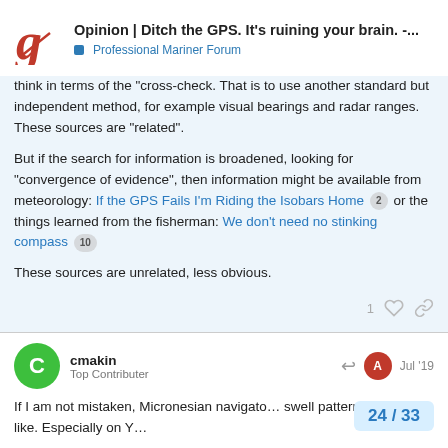Opinion | Ditch the GPS. It's ruining your brain. -... | Professional Mariner Forum
think in terms of the "cross-check. That is to use another standard but independent method, for example visual bearings and radar ranges. These sources are "related".
But if the search for information is broadened, looking for "convergence of evidence", then information might be available from meteorology: If the GPS Fails I'm Riding the Isobars Home [2] or the things learned from the fisherman: We don't need no stinking compass [10]
These sources are unrelated, less obvious.
cmakin
Top Contributer
Jul '19
If I am not mistaken, Micronesian navigato… swell patterns and the like. Especially on Y…